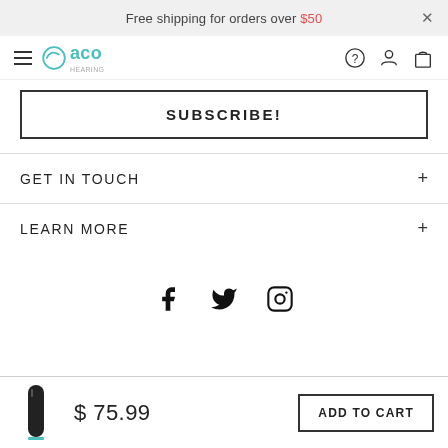Free shipping for orders over $50
[Figure (logo): ACO hearing aid brand logo with teal semicircle icon and 'aco' text]
SUBSCRIBE!
GET IN TOUCH
LEARN MORE
[Figure (illustration): Social media icons: Facebook, Twitter, Instagram]
[Figure (photo): Small product image of a black hearing aid device]
$ 75.99
ADD TO CART